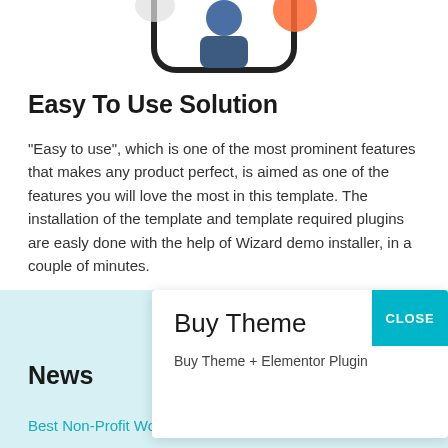[Figure (illustration): Top portion of a mobile phone UI illustration, partially cropped, showing a figure inside a rounded rectangle device frame with an orange/teal accent.]
Easy To Use Solution
"Easy to use", which is one of the most prominent features that makes any product perfect, is aimed as one of the features you will love the most in this template. The installation of the template and template required plugins are easly done with the help of Wizard demo installer, in a couple of minutes.
News
Buy Theme
Buy Theme + Elementor Plugin
CLOSE
Best Non-Profit WordPress Themes